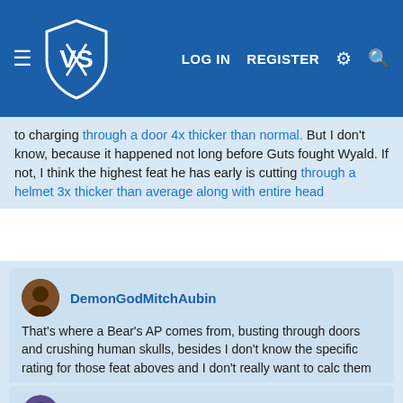VS | LOG IN | REGISTER
to charging through a door 4x thicker than normal. But I don't know, because it happened not long before Guts fought Wyald. If not, I think the highest feat he has early is cutting through a helmet 3x thicker than average along with entire head
DemonGodMitchAubin
That's where a Bear's AP comes from, busting through doors and crushing human skulls, besides I don't know the specific rating for those feat aboves and I don't really want to calc them
Dec 11, 2020
SpookyShadow